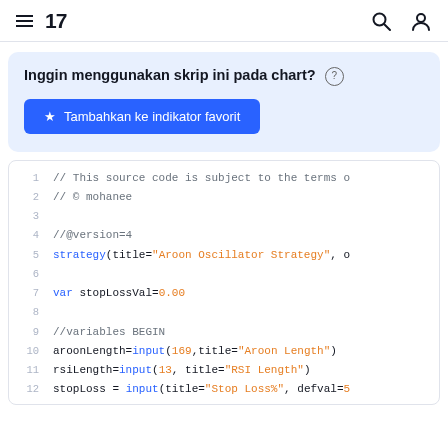TradingView navigation header with hamburger menu, logo '17', search icon, and user icon
Inggin menggunakan skrip ini pada chart? Tambahkan ke indikator favorit
[Figure (screenshot): Code editor showing Pine Script code: lines 1-12 of an Aroon Oscillator Strategy script]
1  // This source code is subject to the terms o
2  // © mohanee
3
4  //@version=4
5  strategy(title="Aroon Oscillator Strategy", o
6
7  var stopLossVal=0.00
8
9  //variables BEGIN
10 aroonLength=input(169,title="Aroon Length")
11 rsiLength=input(13, title="RSI Length")
12 stopLoss = input(title="Stop Loss%", defval=5